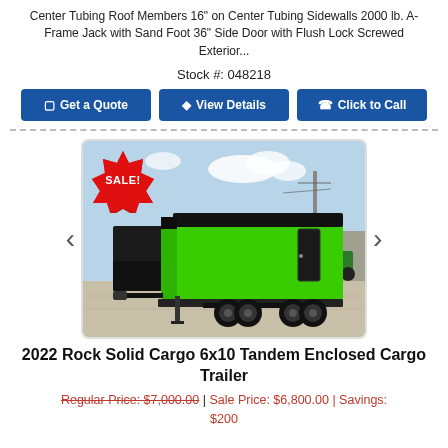Center Tubing Roof Members 16" on Center Tubing Sidewalls 2000 lb. A-Frame Jack with Sand Foot 36" Side Door with Flush Lock Screwed Exterior...
Stock #: 048218
[Figure (screenshot): Three blue buttons: Get a Quote, View Details, Click to Call]
[Figure (photo): Photo of a bright green 2022 Rock Solid Cargo 6x10 Tandem Enclosed Cargo Trailer with black trim, dual axle wheels, with a red SALE! starburst badge in top left corner. Carousel with left and right arrows.]
2022 Rock Solid Cargo 6x10 Tandem Enclosed Cargo Trailer
Regular Price: $7,000.00 | Sale Price: $6,800.00 | Savings: $200